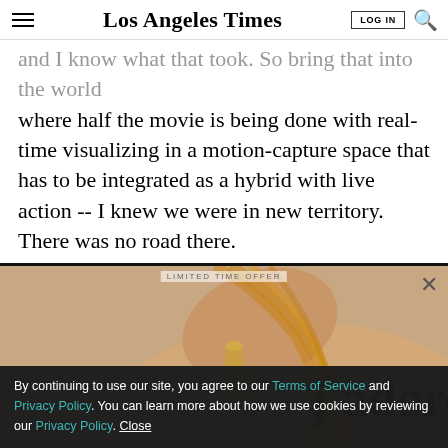Los Angeles Times
and I know what that took. So bring that into the world where half the movie is being done with real-time visualizing in a motion-capture space that has to be integrated as a hybrid with live action -- I knew we were in new territory. There was no road there.
[Figure (photo): Advertisement for Dior J'adore perfume showing a woman's bare back with blonde hair, holding a gold perfume bottle, with 'j'adore' text overlaid. A 'LIMITED TIME OFFER' label and close (X) button appear above the image.]
By continuing to use our site, you agree to our Terms of Service and Privacy Policy. You can learn more about how we use cookies by reviewing our Privacy Policy. Close